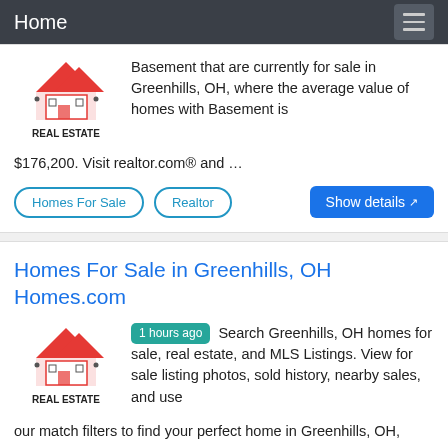Home
Basement that are currently for sale in Greenhills, OH, where the average value of homes with Basement is $176,200. Visit realtor.com® and …
Homes For Sale
Realtor
Show details
Homes For Sale in Greenhills, OH Homes.com
1 hours ago  Search Greenhills, OH homes for sale, real estate, and MLS Listings. View for sale listing photos, sold history, nearby sales, and use our match filters to find your perfect home in Greenhills, OH,